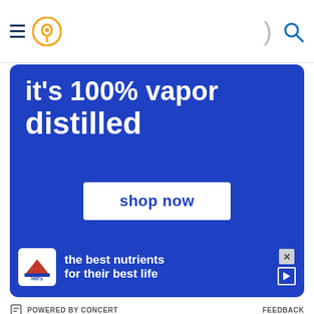Navigation header with hamburger menu, location icon, divider, and search icon
[Figure (photo): Blue advertisement banner with text 'it's 100% vapor distilled' and a 'shop now' button]
POWERED BY CONCERT   FEEDBACK
[Figure (photo): Food photo showing salad cups and cooked meat on a tray]
[Figure (photo): Hill's pet nutrition advertisement: 'the best nutrients for their best life' with Hill's logo]